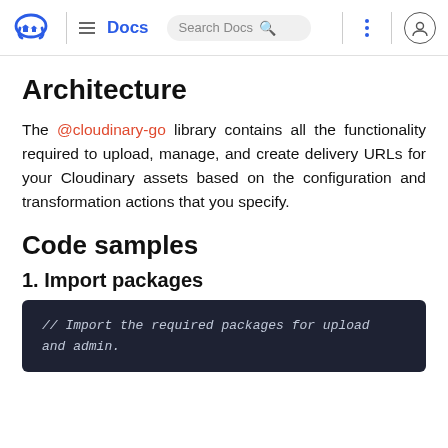Docs  Search Docs
Architecture
The @cloudinary-go library contains all the functionality required to upload, manage, and create delivery URLs for your Cloudinary assets based on the configuration and transformation actions that you specify.
Code samples
1. Import packages
// Import the required packages for upload and admin.